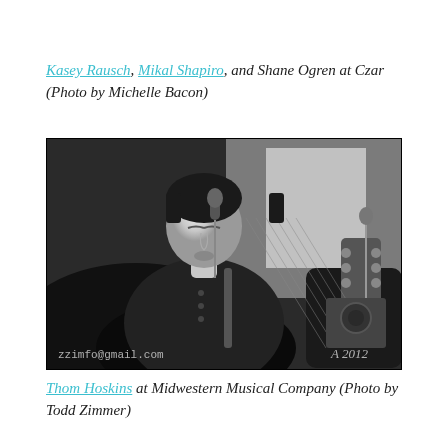Kasey Rausch, Mikal Shapiro, and Shane Ogren at Czar (Photo by Michelle Bacon)
[Figure (photo): Black and white photo of a young man with dark hair, eyes closed, singing into a microphone while playing an acoustic guitar. The image has a watermark 'zzimfo@gmail.com' in the lower left and a photographer's signature mark in the lower right with the year 2012.]
Thom Hoskins at Midwestern Musical Company (Photo by Todd Zimmer)